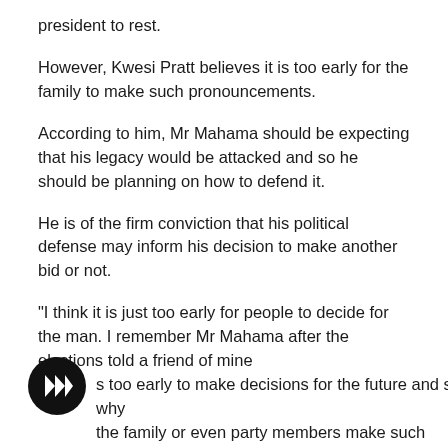president to rest.
However, Kwesi Pratt believes it is too early for the family to make such pronouncements.
According to him, Mr Mahama should be expecting that his legacy would be attacked and so he should be planning on how to defend it.
He is of the firm conviction that his political defense may inform his decision to make another bid or not.
“I think it is just too early for people to decide for the man. I remember Mr Mahama after the elections told a friend of mine s too early to make decisions for the future and so why the family or even party members make such statements.
[Figure (other): Audio play button - circular black button with play icon]
“I think he should just get to defend his legacy politically and if that is done, he will take a decision on whether to continue or end it. Things haven’t begun panning out yet and so let’s just cross our hands and wait” he noted.